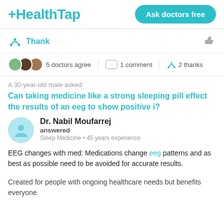HealthTap | Ask doctors free
Thank
5 doctors agree   1 comment   2 thanks
A 30-year-old male asked:
Can taking medicine like a strong sleeping pill effect the results of an eeg to show positive i?
Dr. Nabil Moufarrej answered Sleep Medicine • 45 years experience
EEG changes with med: Medications change eeg patterns and as best as possible need to be avoided for accurate results.
Created for people with ongoing healthcare needs but benefits everyone.